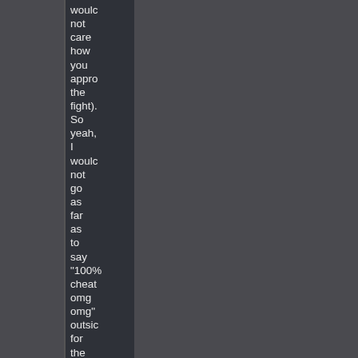would not care how you appro the fight). So yeah, I would not go as far as to say "100% cheat omg omg" outsic for the obvio match vs a bot